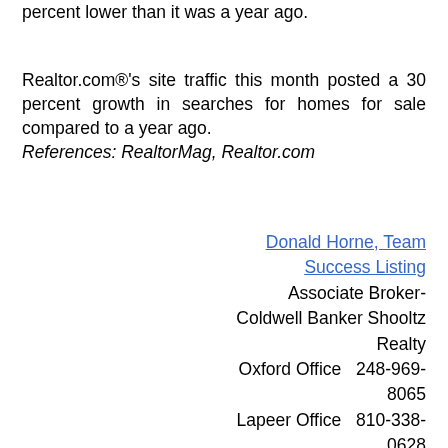percent lower than it was a year ago.
Realtor.com®'s site traffic this month posted a 30 percent growth in searches for homes for sale compared to a year ago.
References: RealtorMag, Realtor.com
Donald Horne, Team Success Listing
Associate Broker- Coldwell Banker Shooltz Realty
Oxford Office   248-969-8065
Lapeer Office   810-338-0628